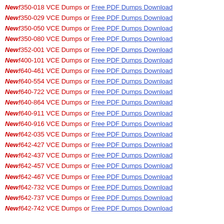New! 350-018 VCE Dumps or Free PDF Dumps Download
New! 350-029 VCE Dumps or Free PDF Dumps Download
New! 350-050 VCE Dumps or Free PDF Dumps Download
New! 350-080 VCE Dumps or Free PDF Dumps Download
New! 352-001 VCE Dumps or Free PDF Dumps Download
New! 400-101 VCE Dumps or Free PDF Dumps Download
New! 640-461 VCE Dumps or Free PDF Dumps Download
New! 640-554 VCE Dumps or Free PDF Dumps Download
New! 640-722 VCE Dumps or Free PDF Dumps Download
New! 640-864 VCE Dumps or Free PDF Dumps Download
New! 640-911 VCE Dumps or Free PDF Dumps Download
New! 640-916 VCE Dumps or Free PDF Dumps Download
New! 642-035 VCE Dumps or Free PDF Dumps Download
New! 642-427 VCE Dumps or Free PDF Dumps Download
New! 642-437 VCE Dumps or Free PDF Dumps Download
New! 642-457 VCE Dumps or Free PDF Dumps Download
New! 642-467 VCE Dumps or Free PDF Dumps Download
New! 642-732 VCE Dumps or Free PDF Dumps Download
New! 642-737 VCE Dumps or Free PDF Dumps Download
New! 642-742 VCE Dumps or Free PDF Dumps Download